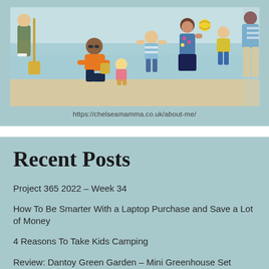[Figure (illustration): Illustrated beach scene showing a family with adults and children playing on the beach. A man in an orange shirt and sunglasses is kneeling on the sand with a small blonde child in a pink top. Other figures include a person with a yellow shovel, children in striped shirts, a woman in a floral top, a boy in a yellow shirt, and a woman in a striped top. Watercolor/illustration style.]
https://chelseamamma.co.uk/about-me/
Recent Posts
Project 365 2022 – Week 34
How To Be Smarter With a Laptop Purchase and Save a Lot of Money
4 Reasons To Take Kids Camping
Review: Dantoy Green Garden – Mini Greenhouse Set